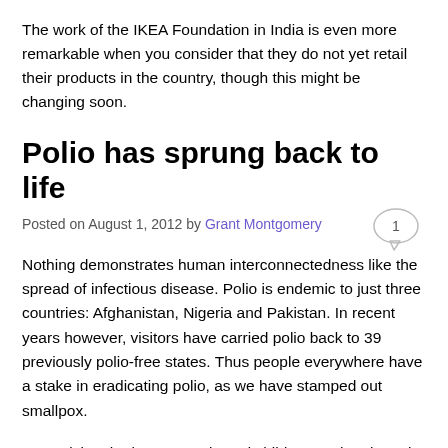The work of the IKEA Foundation in India is even more remarkable when you consider that they do not yet retail their products in the country, though this might be changing soon.
Polio has sprung back to life
Posted on August 1, 2012 by Grant Montgomery
[Figure (other): Speech bubble / comment count icon showing number 1]
Nothing demonstrates human interconnectedness like the spread of infectious disease. Polio is endemic to just three countries: Afghanistan, Nigeria and Pakistan. In recent years however, visitors have carried polio back to 39 previously polio-free states. Thus people everywhere have a stake in eradicating polio, as we have stamped out smallpox.
Immunizing the last unvaccinated children on the planet is an expensive and complex undertaking, and worth it in the long run. The world not only would be forever spared an incurable, crippling and often fatal disease. It would also save a lot of money. If polio transmission could be stopped by 2015, the net